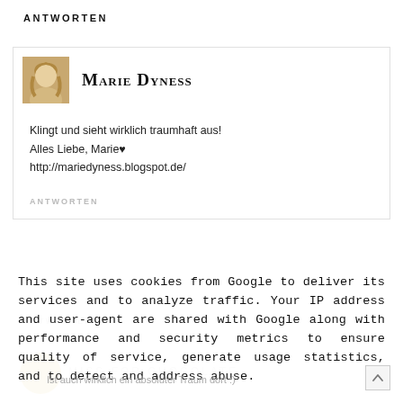ANTWORTEN
[Figure (photo): Avatar photo of Marie Dyness - woman with blonde wavy hair]
Marie Dyness
Klingt und sieht wirklich traumhaft aus!
Alles Liebe, Marie♥
http://mariedyness.blogspot.de/
ANTWORTEN
This site uses cookies from Google to deliver its services and to analyze traffic. Your IP address and user-agent are shared with Google along with performance and security metrics to ensure quality of service, generate usage statistics, and to detect and address abuse.
LEARN MORE   OK
Ist auch wirklich ein absoluter Traum dort :)